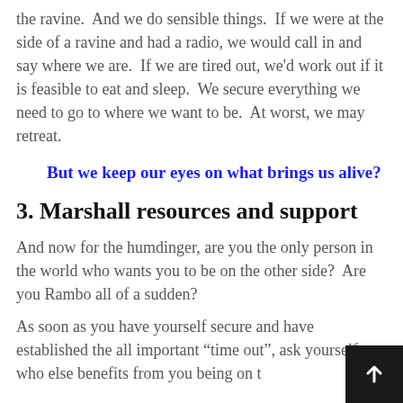the ravine.  And we do sensible things.  If we were at the side of a ravine and had a radio, we would call in and say where we are.  If we are tired out, we'd work out if it is feasible to eat and sleep.  We secure everything we need to go to where we want to be.  At worst, we may retreat.
But we keep our eyes on what brings us alive?
3. Marshall resources and support
And now for the humdinger, are you the only person in the world who wants you to be on the other side?  Are you Rambo all of a sudden?
As soon as you have yourself secure and have established the all important “time out”, ask yourself who else benefits from you being on t